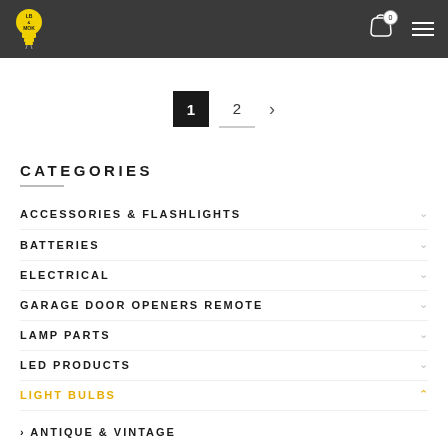LB MOK logo, cart icon with badge 0, hamburger menu
1  2  >
CATEGORIES
ACCESSORIES & FLASHLIGHTS
BATTERIES
ELECTRICAL
GARAGE DOOR OPENERS REMOTE
LAMP PARTS
LED PRODUCTS
LIGHT BULBS
ANTIQUE & VINTAGE